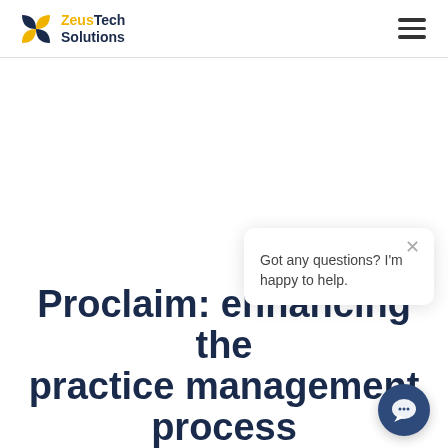ZeusTech Solutions
Got any questions? I'm happy to help.
Proclaim: enhancing the practice management process